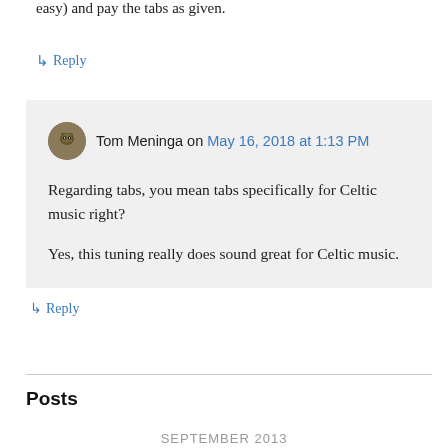easy) and pay the tabs as given.
↳ Reply
Tom Meninga on May 16, 2018 at 1:13 PM
Regarding tabs, you mean tabs specifically for Celtic music right?

Yes, this tuning really does sound great for Celtic music.
↳ Reply
Posts
SEPTEMBER 2013